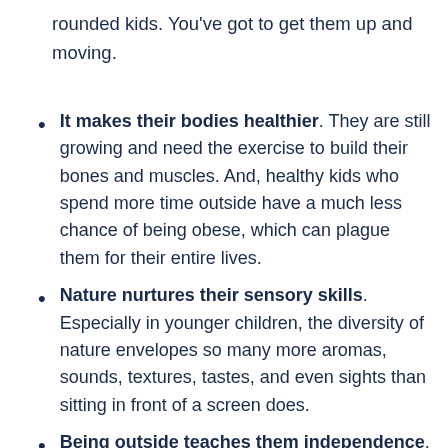rounded kids. You've got to get them up and moving.
It makes their bodies healthier. They are still growing and need the exercise to build their bones and muscles. And, healthy kids who spend more time outside have a much less chance of being obese, which can plague them for their entire lives.
Nature nurtures their sensory skills. Especially in younger children, the diversity of nature envelopes so many more aromas, sounds, textures, tastes, and even sights than sitting in front of a screen does.
Being outside teaches them independence. When kids are in side it's more about...